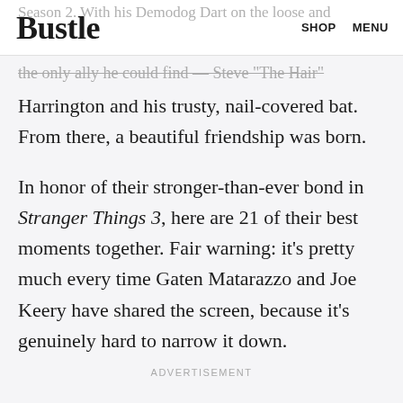Bustle | SHOP | MENU
Season 2. With his Demodog Dart on the loose and the only ally he could find — Steve "The Hair"
Harrington and his trusty, nail-covered bat. From there, a beautiful friendship was born.
In honor of their stronger-than-ever bond in Stranger Things 3, here are 21 of their best moments together. Fair warning: it's pretty much every time Gaten Matarazzo and Joe Keery have shared the screen, because it's genuinely hard to narrow it down.
ADVERTISEMENT